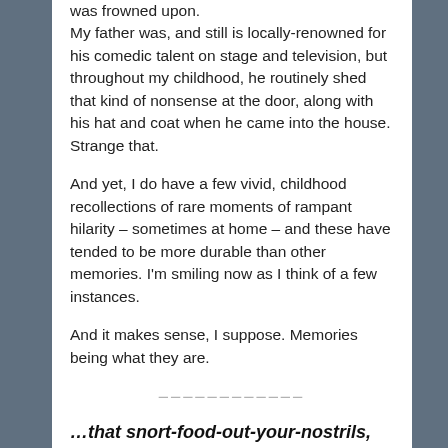was frowned upon. My father was, and still is locally-renowned for his comedic talent on stage and television, but throughout my childhood, he routinely shed that kind of nonsense at the door, along with his hat and coat when he came into the house. Strange that.
And yet, I do have a few vivid, childhood recollections of rare moments of rampant hilarity – sometimes at home – and these have tended to be more durable than other memories. I'm smiling now as I think of a few instances.
And it makes sense, I suppose. Memories being what they are.
…that snort-food-out-your-nostrils,